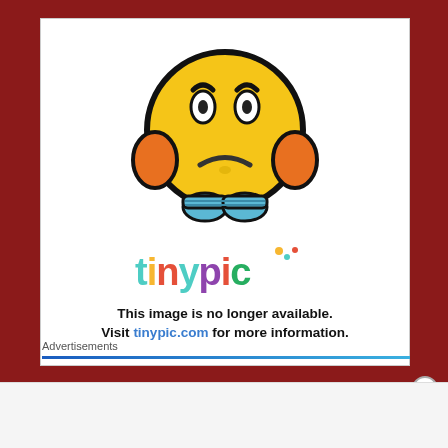[Figure (illustration): Tinypic.com placeholder image: cartoon worried face emoji with blue shoes and orange hands, above the 'tinypic' colorful logo text, with message 'This image is no longer available. Visit tinypic.com for more information.']
Advertisements
Advertisements
[Figure (screenshot): WooCommerce advertisement banner: purple background with WooCommerce logo and green arrow, text reading 'How to start selling subscriptions online', with orange decorative blob on right.]